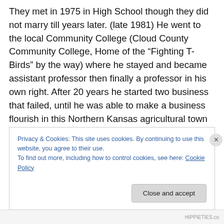They met in 1975 in High School though they did not marry till years later. (late 1981) He went to the local Community College (Cloud County Community College, Home of the “Fighting T-Birds” by the way) where he stayed and became assistant professor then finally a professor in his own right. After 20 years he started two business that failed, until he was able to make a business flourish in this Northern Kansas agricultural town of 6,000. (crop insurance I think). She moved away after High School and came back home after 7 years living a “nomad’s life”. Not sure if that means “hippie”, gypsy” or
Privacy & Cookies: This site uses cookies. By continuing to use this website, you agree to their use.
To find out more, including how to control cookies, see here: Cookie Policy
Close and accept
HIPPIETIES.co